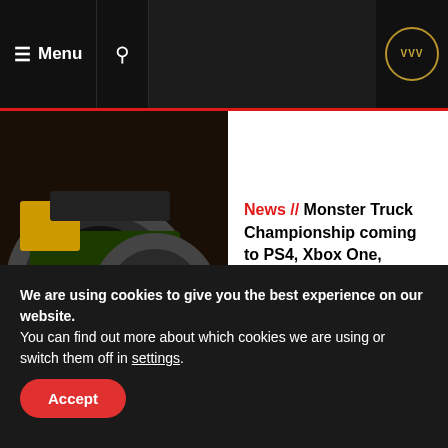≡ Menu | 🔍 | VVV
[Figure (screenshot): Monster truck image - dark, action shot of large monster truck]
News // Monster Truck Championship coming to PS4, Xbox One, Switch and PC
[Figure (screenshot): Racing game screenshot - colorful 90s inspired Hotshot Racing]
News // '90s inspired Hotshot Racing coming to PS4, Xbox One, Switch and PC this spring
We are using cookies to give you the best experience on our website.
You can find out more about which cookies we are using or switch them off in settings.
Accept